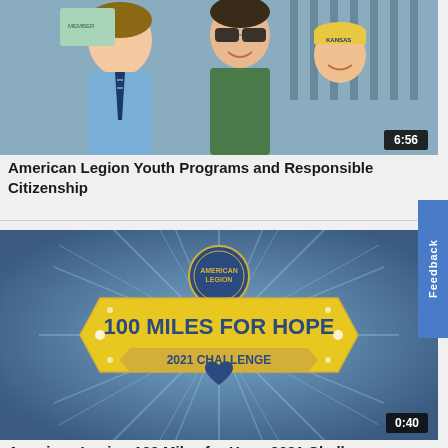[Figure (photo): Video thumbnail showing a woman with sunglasses, a boy in a blue shirt and tie, and a young child in a Kansas Legion cap. Duration badge shows 6:56.]
American Legion Youth Programs and Responsible Citizenship
[Figure (illustration): Video thumbnail with blue starburst background and a yellow badge logo reading '100 MILES FOR HOPE 2021 CHALLENGE' with American Legion seal and blue heart. Duration badge shows 0:40.]
American Legion 100 Miles for Hope 2021 Challenge